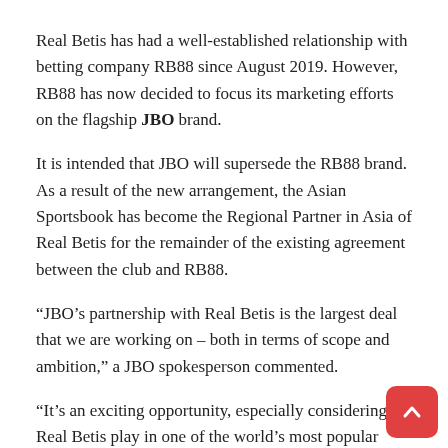Real Betis has had a well-established relationship with betting company RB88 since August 2019. However, RB88 has now decided to focus its marketing efforts on the flagship JBO brand.
It is intended that JBO will supersede the RB88 brand. As a result of the new arrangement, the Asian Sportsbook has become the Regional Partner in Asia of Real Betis for the remainder of the existing agreement between the club and RB88.
“JBO’s partnership with Real Betis is the largest deal that we are working on – both in terms of scope and ambition,” a JBO spokesperson commented.
“It’s an exciting opportunity, especially considering Real Betis play in one of the world’s most popular leagues. So, we can’t wait to continue some good initial work with the club, consolidating JBO’s credentials and awareness in Asia in the process.”
“With this partnership in place, collaboration between JBO and Real Betis will intuitively strengthen and provide a platform from which to